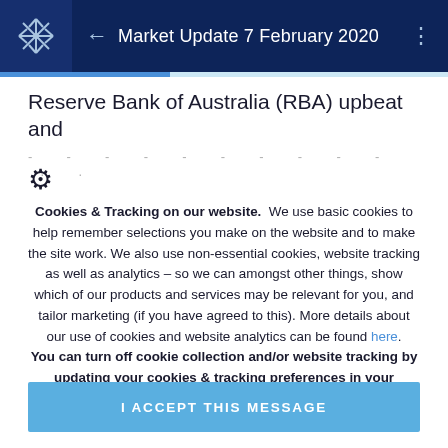Market Update 7 February 2020
Reserve Bank of Australia (RBA) upbeat and
Cookies & Tracking on our website. We use basic cookies to help remember selections you make on the website and to make the site work. We also use non-essential cookies, website tracking as well as analytics – so we can amongst other things, show which of our products and services may be relevant for you, and tailor marketing (if you have agreed to this). More details about our use of cookies and website analytics can be found here. You can turn off cookie collection and/or website tracking by updating your cookies & tracking preferences in your browser settings.
I ACCEPT THIS MESSAGE